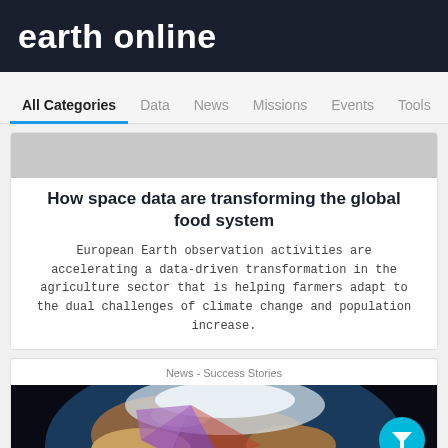earth online
All Categories   Data   News   Missions   Events   Tools
[Figure (screenshot): Gray placeholder image area at top of first article card]
How space data are transforming the global food system
European Earth observation activities are accelerating a data-driven transformation in the agriculture sector that is helping farmers adapt to the dual challenges of climate change and population increase.
News - Success Stories
[Figure (photo): Dark space photo showing a globe of Earth with colorful geometric pyramid shapes overlaid, viewed from above the polar region]